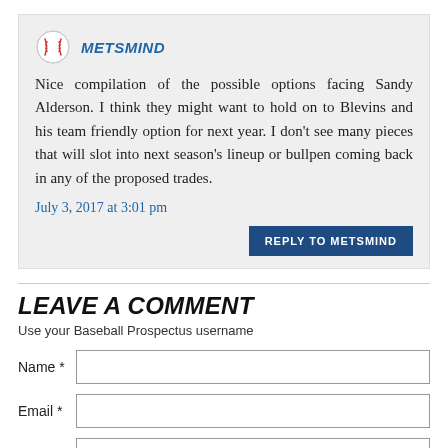[Figure (illustration): Baseball icon — white circle with red stitching lines]
METSMIND
Nice compilation of the possible options facing Sandy Alderson. I think they might want to hold on to Blevins and his team friendly option for next year. I don't see many pieces that will slot into next season's lineup or bullpen coming back in any of the proposed trades.
July 3, 2017 at 3:01 pm
REPLY TO METSMIND
LEAVE A COMMENT
Use your Baseball Prospectus username
Name *
Email *